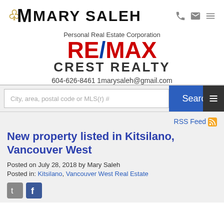MARY SALEH — Personal Real Estate Corporation RE/MAX CREST REALTY — 604-626-8461 1marysaleh@gmail.com
[Figure (logo): Mary Saleh RE/MAX Crest Realty logo with stylized M and horse icon]
Personal Real Estate Corporation
RE/MAX CREST REALTY
604-626-8461 1marysaleh@gmail.com
City, area, postal code or MLS(r) # [Search button]
RSS Feed
New property listed in Kitsilano, Vancouver West
Posted on July 28, 2018 by Mary Saleh
Posted in: Kitsilano, Vancouver West Real Estate